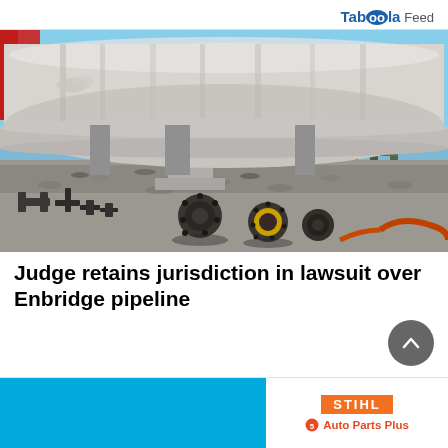Taboola Feed
[Figure (photo): Outdoor pipeline infrastructure at an industrial facility. Large white insulated pipes run horizontally on supports. In the foreground are scattered metal pipe flanges, bolts, and fittings on gravel ground. Steel staircase and equipment visible in background under blue sky.]
Judge retains jurisdiction in lawsuit over Enbridge pipeline
[Figure (other): Advertisement banner: blue background on left, STIHL orange logo and Auto Parts Plus text on right]